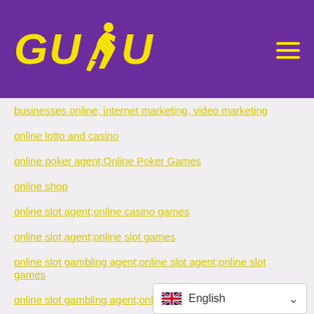[Figure (logo): GUDU logo with yellow bold italic text and a running figure silhouette on purple background, with hamburger menu icon on right]
businesses online, internet marketing, video marketing
online lotto and casino
online poker agent;Online Poker Games
online shop
online slot agent;online casino games
online slot agent;online slot games
online slot gambling agent;online slot agent;online slot games
online slot gambling agent;online slot games
OPEN SLOT APK
organic
organizing
osg 777
[Figure (other): Language selector widget showing UK flag and 'English' with dropdown caret]